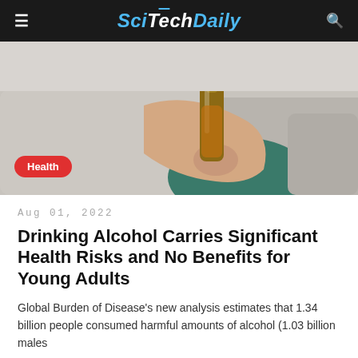SciTechDaily
[Figure (photo): Person holding a beer bottle while sitting on a couch, with a Health category badge overlay]
Aug 01, 2022
Drinking Alcohol Carries Significant Health Risks and No Benefits for Young Adults
Global Burden of Disease's new analysis estimates that 1.34 billion people consumed harmful amounts of alcohol (1.03 billion males